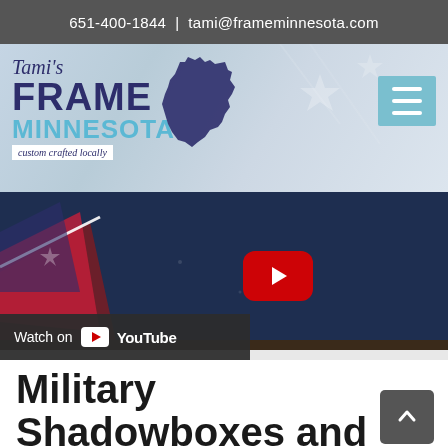651-400-1844  |  tami@frameminnesota.com
[Figure (logo): Tami's Frame Minnesota logo with Minnesota state silhouette and tagline 'custom crafted locally']
[Figure (screenshot): YouTube video thumbnail showing a military shadowbox with navy blue background and American flag corner, with YouTube play button overlay and 'Watch on YouTube' bar]
Military Shadowboxes and Co...